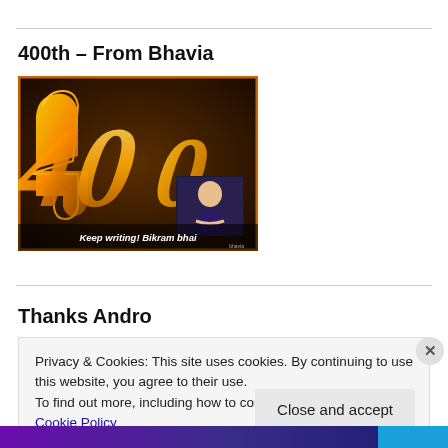400th – From Bhavia
[Figure (photo): Golden stylized '400' text on dark brown background with text 'Keep writing! Bikram bhai' and a small inset photo of a man.]
Thanks Andro
Privacy & Cookies: This site uses cookies. By continuing to use this website, you agree to their use.
To find out more, including how to control cookies, see here: Cookie Policy
Close and accept